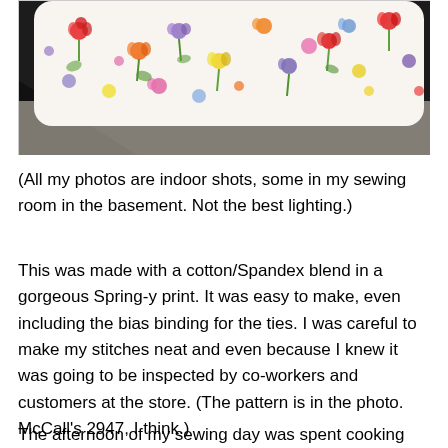[Figure (photo): Photo of fabric with colorful floral print (spring flowers in red, orange, yellow, blue, purple on white background) draped or folded on a dark surface, indoor lighting.]
(All my photos are indoor shots, some in my sewing room in the basement. Not the best lighting.)
This was made with a cotton/Spandex blend in a gorgeous Spring-y print. It was easy to make, even including the bias binding for the ties. I was careful to make my stitches neat and even because I knew it was going to be inspected by co-workers and customers at the store. (The pattern is in the photo. McCall's 2947, I think.)
The afternoon of my sewing day was spent cooking dinner and dessert, then the evening saw me back in my sewing